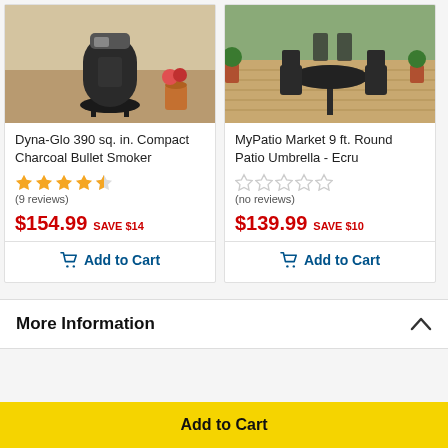[Figure (photo): Dyna-Glo charcoal bullet smoker product image]
Dyna-Glo 390 sq. in. Compact Charcoal Bullet Smoker
(9 reviews)
$154.99 SAVE $14
Add to Cart
[Figure (photo): MyPatio Market 9 ft. Round Patio Umbrella - Ecru product image showing patio table set]
MyPatio Market 9 ft. Round Patio Umbrella - Ecru
(no reviews)
$139.99 SAVE $10
Add to Cart
More Information
Add to Cart